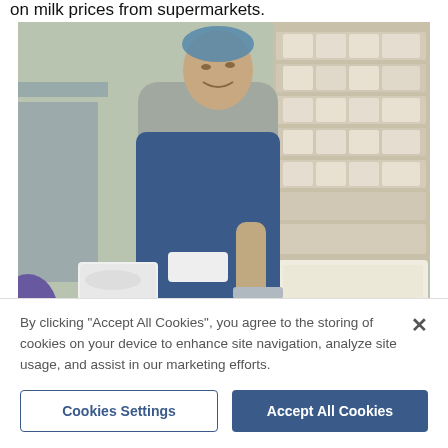on milk prices from supermarkets.
[Figure (photo): A man wearing a blue apron and hairnet ladelling curd in a cheese-making facility, with white plastic containers and trays on shelves in the background. Purple-gloved hands visible on the left holding a small bowl.]
Jonny Crickmore ladelling curd inside the new cheese-making
By clicking "Accept All Cookies", you agree to the storing of cookies on your device to enhance site navigation, analyze site usage, and assist in our marketing efforts.
Cookies Settings
Accept All Cookies